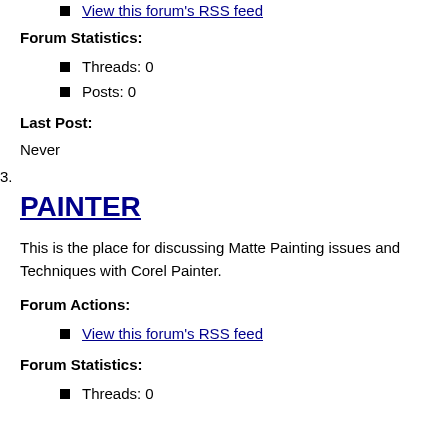View this forum's RSS feed
Forum Statistics:
Threads: 0
Posts: 0
Last Post:
Never
3.
PAINTER
This is the place for discussing Matte Painting issues and Techniques with Corel Painter.
Forum Actions:
View this forum's RSS feed
Forum Statistics:
Threads: 0